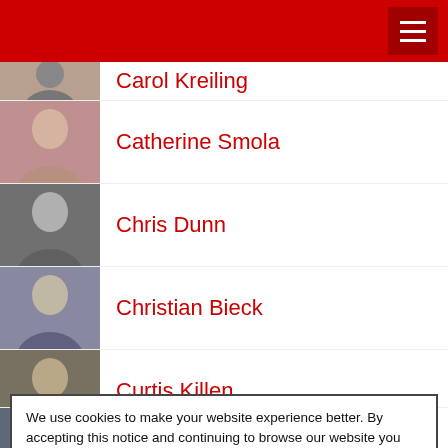Navigation header with hamburger menu
Carol Kreiling
Catherine Smola
Chris Dunn
Christian Bieck
Curtis Killen
Daniel Strigberger
We use cookies to make your website experience better. By accepting this notice and continuing to browse our website you confirm you accept our Terms of Use & Privacy Policy.
read more >> | I Accept
Ehsan Rasul